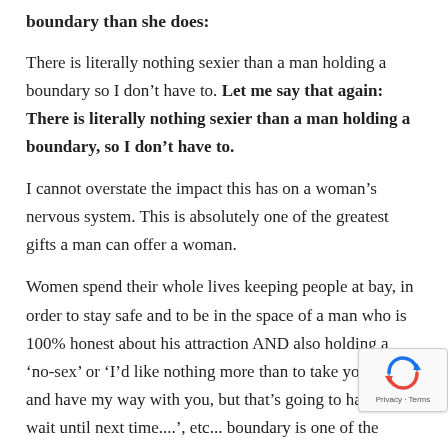boundary than she does:
There is literally nothing sexier than a man holding a boundary so I don't have to. Let me say that again: There is literally nothing sexier than a man holding a boundary, so I don't have to.
I cannot overstate the impact this has on a woman's nervous system. This is absolutely one of the greatest gifts a man can offer a woman.
Women spend their whole lives keeping people at bay, in order to stay safe and to be in the space of a man who is 100% honest about his attraction AND also holding a 'no-sex' or 'I'd like nothing more than to take you home and have my way with you, but that's going to have to wait until next time....', etc... boundary is one of the hottest experiences you can give a woman.